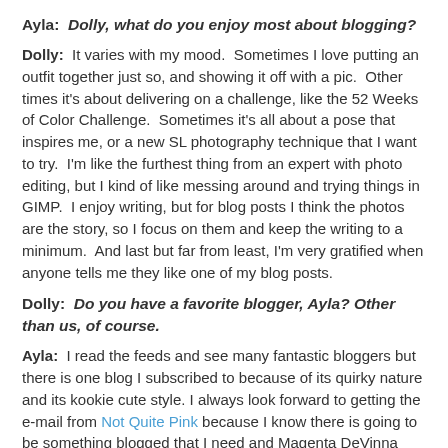Ayla:  Dolly, what do you enjoy most about blogging?
Dolly:  It varies with my mood.  Sometimes I love putting an outfit together just so, and showing it off with a pic.  Other times it's about delivering on a challenge, like the 52 Weeks of Color Challenge.  Sometimes it's all about a pose that inspires me, or a new SL photography technique that I want to try.  I'm like the furthest thing from an expert with photo editing, but I kind of like messing around and trying things in GIMP.  I enjoy writing, but for blog posts I think the photos are the story, so I focus on them and keep the writing to a minimum.  And last but far from least, I'm very gratified when anyone tells me they like one of my blog posts.
Dolly:  Do you have a favorite blogger, Ayla? Other than us, of course.
Ayla:  I read the feeds and see many fantastic bloggers but there is one blog I subscribed to because of its quirky nature and its kookie cute style. I always look forward to getting the e-mail from Not Quite Pink because I know there is going to be something blogged that I need and Magenta DeVinna